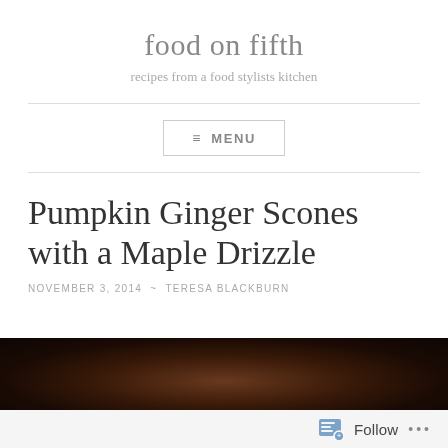food on fifth
recipes from a food stylists kitchen
≡ MENU
Pumpkin Ginger Scones with a Maple Drizzle
NOVEMBER 3, 2014  ~  TERESA BLACKBURN
[Figure (photo): Dark moody photo, top portion of a pumpkin scone dish, very dark background]
Follow  ...